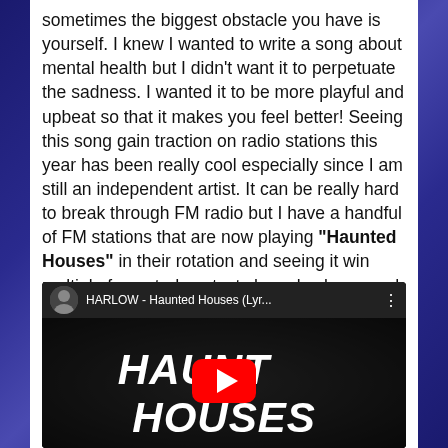sometimes the biggest obstacle you have is yourself. I knew I wanted to write a song about mental health but I didn't want it to perpetuate the sadness. I wanted it to be more playful and upbeat so that it makes you feel better! Seeing this song gain traction on radio stations this year has been really cool especially since I am still an independent artist. It can be really hard to break through FM radio but I have a handful of FM stations that are now playing "Haunted Houses" in their rotation and seeing it win multiple fan voted contests has also been such a highlight for me!
[Figure (screenshot): YouTube video thumbnail for HARLOW - Haunted Houses (Lyr...) showing the video title bar with channel avatar, video title, and three-dot menu, with a dark thumbnail featuring the stylized text HAUNTED HOUSES and the YouTube play button overlay]